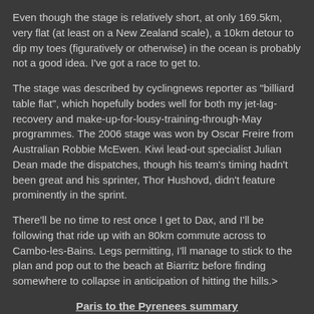Even though the stage is relatively short, at only 169.5km, very flat (at least on a New Zealand scale), a 10km detour to dip my toes (figuratively or otherwise) in the ocean is probably not a good idea.  I've got a race to get to.
The stage was described by cyclingnews reporter as "billiard table flat", which hopefully bodes well for both my jet-lag-recovery and make-up-for-lousy-training-through-May programmes.  The 2006 stage was won by Oscar Freire from Australian Robbie McEwen.  Kiwi lead-out specialist Julian Dean made the dispatches, though his team's timing hadn't been great and his sprinter, Thor Hushovd, didn't feature prominently in the sprint.
There'll be no time to rest once I get to Dax, and I'll be following that ride up with an 80km commute across to Cambo-les-Bains.  Legs permitting, I'll manage to stick to the plan and pop out to the beach at Biarritz before finding somewhere to collapse in anticipation of hitting the hills.>
Paris to the Pyrenees summary